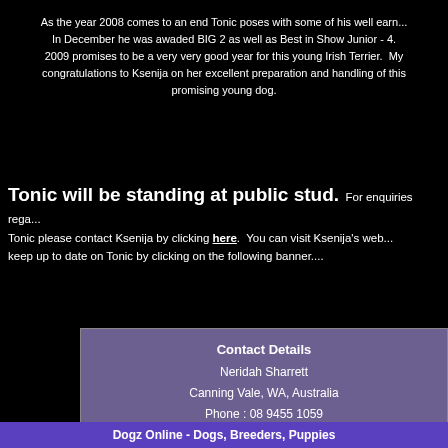As the year 2008 comes to an end Tonic poses with some of his well earn... In December he was awaded BIG 2 as well as Best in Show Junior - 4. 2009 promises to be a very very good year for this young Irish Terrier. My congratulations to Ksenija on her excellent preparation and handling of this promising young dog.
Tonic will be standing at public stud. For enquiries regarding Tonic please contact Ksenija by clicking here. You can visit Ksenija's web... keep up to date on Tonic by clicking on the following banner....
| Contact Details |
| Neridah Sharrett |
| Canning Vale, WA, Australia |
| Phone : 08 9455 1059 |
| Email : irishterriers@gmail.com |
All content copyright © 2022
Dogz Online - Dogs, Breeders, Puppies